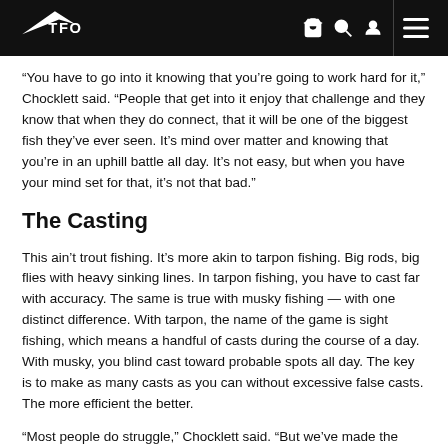TFO (logo)
“You have to go into it knowing that you’re going to work hard for it,” Chocklett said. “People that get into it enjoy that challenge and they know that when they do connect, that it will be one of the biggest fish they’ve ever seen. It’s mind over matter and knowing that you’re in an uphill battle all day. It’s not easy, but when you have your mind set for that, it’s not that bad.”
The Casting
This ain’t trout fishing. It’s more akin to tarpon fishing. Big rods, big flies with heavy sinking lines. In tarpon fishing, you have to cast far with accuracy. The same is true with musky fishing — with one distinct difference. With tarpon, the name of the game is sight fishing, which means a handful of casts during the course of a day. With musky, you blind cast toward probable spots all day. The key is to make as many casts as you can without excessive false casts. The more efficient the better.
“Most people do struggle,” Chocklett said. “But we’ve made the process easier with TFO and Scientific Anglers, with the rods and the lines. We’ve made it a whole